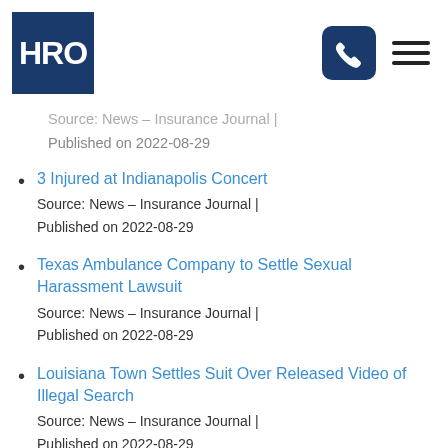[Figure (logo): HRO logo — white text on dark navy blue square background]
Source: News – Insurance Journal | Published on 2022-08-29
3 Injured at Indianapolis Concert
Source: News – Insurance Journal | Published on 2022-08-29
Texas Ambulance Company to Settle Sexual Harassment Lawsuit
Source: News – Insurance Journal | Published on 2022-08-29
Louisiana Town Settles Suit Over Released Video of Illegal Search
Source: News – Insurance Journal | Published on 2022-08-29